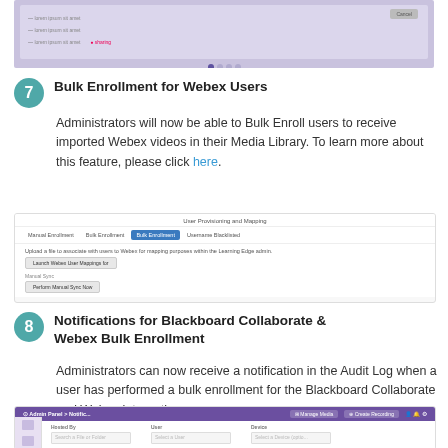[Figure (screenshot): Top partial screenshot showing a list view with purple/lavender background and a Cancel button, with pagination dots at the bottom]
7 Bulk Enrollment for Webex Users
Administrators will now be able to Bulk Enroll users to receive imported Webex videos in their Media Library. To learn more about this feature, please click here.
[Figure (screenshot): Screenshot of User Provisioning and Mapping interface with tabs: Manual Enrollment, Bulk Enrollment (active), Username Blacklisted. Contains a button for 'Launch Webex User Mappings for' and a Perform Webex Sync Now button.]
8 Notifications for Blackboard Collaborate & Webex Bulk Enrollment
Administrators can now receive a notification in the Audit Log when a user has performed a bulk enrollment for the Blackboard Collaborate and Webex integrations.
[Figure (screenshot): Admin Panel Notifications screenshot with purple header bar showing Manage Media and Create Recording options, and a filter section with Hosted By, User, and Device fields.]